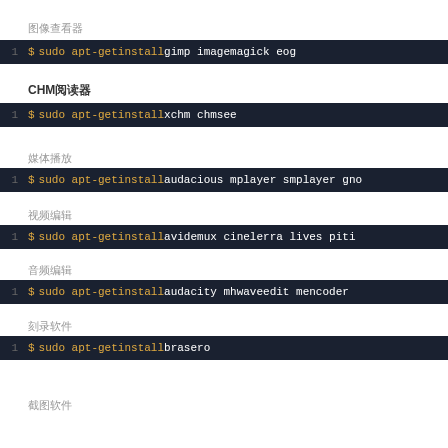图像查看器
[Figure (screenshot): Terminal code block: $ sudo apt-get install gimp imagemagick eog]
CHM阅读器
[Figure (screenshot): Terminal code block: $ sudo apt-get install xchm chmsee]
媒体播放
[Figure (screenshot): Terminal code block: $ sudo apt-get install audacious mplayer smplayer gno...]
视频编辑
[Figure (screenshot): Terminal code block: $ sudo apt-get install avidemux cinelerra lives piti...]
音频编辑
[Figure (screenshot): Terminal code block: $ sudo apt-get install audacity mhwaveedit mencoder]
刻录软件
[Figure (screenshot): Terminal code block: $ sudo apt-get install brasero]
截图软件